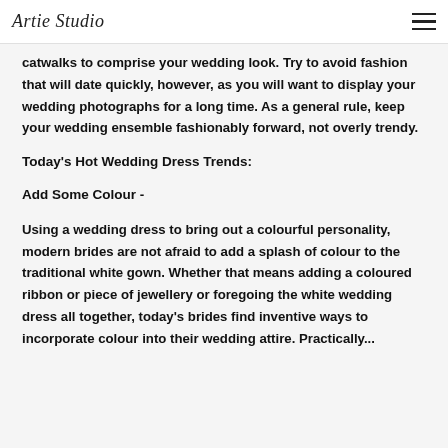Artie Studio
catwalks to comprise your wedding look. Try to avoid fashion that will date quickly, however, as you will want to display your wedding photographs for a long time. As a general rule, keep your wedding ensemble fashionably forward, not overly trendy.
Today's Hot Wedding Dress Trends:
Add Some Colour -
Using a wedding dress to bring out a colourful personality, modern brides are not afraid to add a splash of colour to the traditional white gown. Whether that means adding a coloured ribbon or piece of jewellery or foregoing the white wedding dress all together, today's brides find inventive ways to incorporate colour into their wedding attire. Practically...